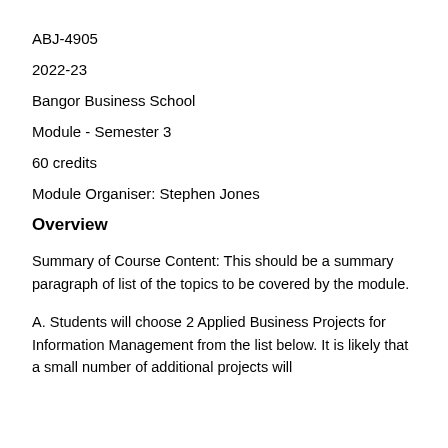ABJ-4905
2022-23
Bangor Business School
Module - Semester 3
60 credits
Module Organiser: Stephen Jones
Overview
Summary of Course Content: This should be a summary paragraph of list of the topics to be covered by the module.
A. Students will choose 2 Applied Business Projects for Information Management from the list below. It is likely that a small number of additional projects will